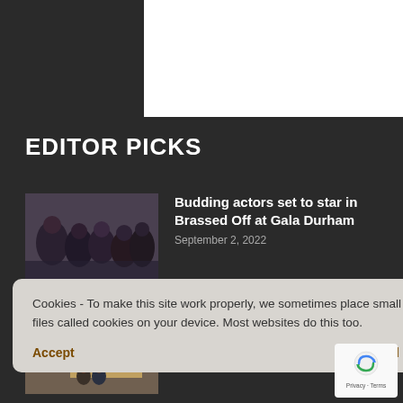[Figure (other): White rectangle area at top of page, partial UI element]
EDITOR PICKS
[Figure (photo): Group of young people/actors posing together, thumbnail image]
Budding actors set to star in Brassed Off at Gala Durham
September 2, 2022
[Figure (photo): People standing outside a building, thumbnail image]
Hospices May Need to Raise Millions for Energy Costs
ermarking
Cookies - To make this site work properly, we sometimes place small data files called cookies on your device. Most websites do this too.
Accept
Read more
[Figure (logo): reCAPTCHA logo with Privacy and Terms text]